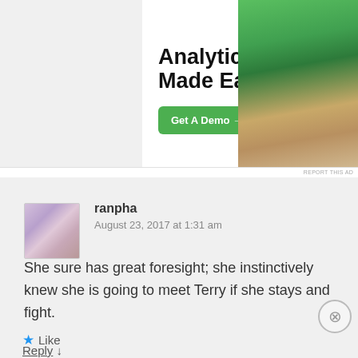[Figure (screenshot): Top advertisement banner with text 'Analytics Made Easy' and 'Get A Demo →' button, with photo of person at laptop on the right side]
ranpha
August 23, 2017 at 1:31 am
She sure has great foresight; she instinctively knew she is going to meet Terry if she stays and fight.
★ Like
Reply ↓
Advertisements
[Figure (screenshot): DuckDuckGo advertisement banner with orange background: 'Search, browse, and email with more privacy. All in One Free App' with DuckDuckGo logo on black background]